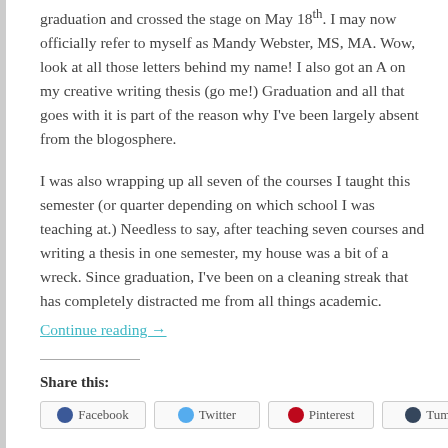graduation and crossed the stage on May 18th. I may now officially refer to myself as Mandy Webster, MS, MA. Wow, look at all those letters behind my name! I also got an A on my creative writing thesis (go me!) Graduation and all that goes with it is part of the reason why I've been largely absent from the blogosphere.
I was also wrapping up all seven of the courses I taught this semester (or quarter depending on which school I was teaching at.) Needless to say, after teaching seven courses and writing a thesis in one semester, my house was a bit of a wreck. Since graduation, I've been on a cleaning streak that has completely distracted me from all things academic.
Continue reading →
Share this:
Facebook | Twitter | Pinterest | Tumblr